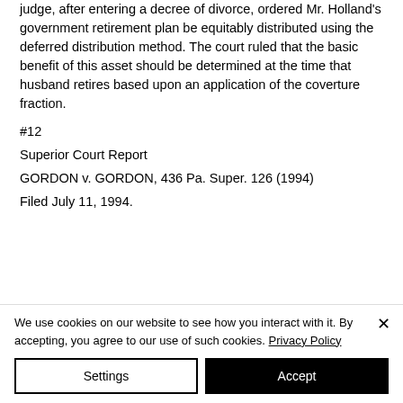judge, after entering a decree of divorce, ordered Mr. Holland's government retirement plan be equitably distributed using the deferred distribution method. The court ruled that the basic benefit of this asset should be determined at the time that husband retires based upon an application of the coverture fraction.
#12
Superior Court Report
GORDON v. GORDON, 436 Pa. Super. 126 (1994)
Filed July 11, 1994.
We use cookies on our website to see how you interact with it. By accepting, you agree to our use of such cookies. Privacy Policy
Settings
Accept